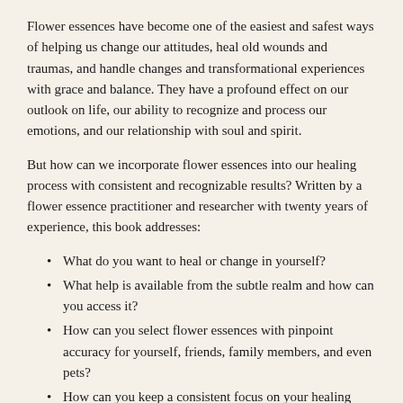Flower essences have become one of the easiest and safest ways of helping us change our attitudes, heal old wounds and traumas, and handle changes and transformational experiences with grace and balance. They have a profound effect on our outlook on life, our ability to recognize and process our emotions, and our relationship with soul and spirit.
But how can we incorporate flower essences into our healing process with consistent and recognizable results? Written by a flower essence practitioner and researcher with twenty years of experience, this book addresses:
What do you want to heal or change in yourself?
What help is available from the subtle realm and how can you access it?
How can you select flower essences with pinpoint accuracy for yourself, friends, family members, and even pets?
How can you keep a consistent focus on your healing process?
“This remarkable little book is designed to lead